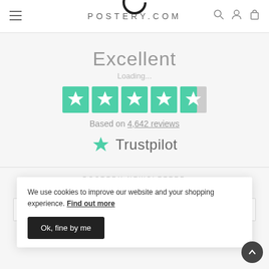POSTERY.COM
Excellent
Loading...
[Figure (other): Trustpilot 4.5 star rating — five star boxes in teal/green, last one half-filled]
Based on 4,642 reviews
[Figure (logo): Trustpilot logo with teal star icon and Trustpilot wordmark]
POSTERY NEWSLETTER
We use cookies to improve our website and your shopping experience. Find out more
Ok, fine by me